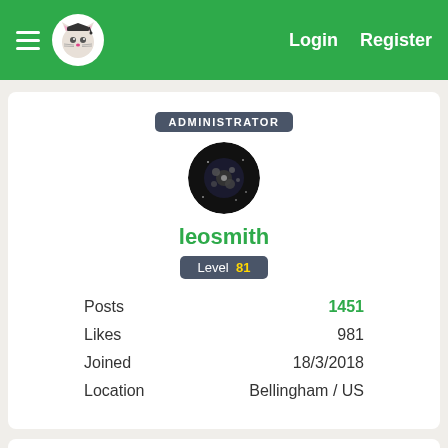Login  Register
[Figure (screenshot): User profile page for leosmith with ADMINISTRATOR badge, level 81, 1451 posts, 981 likes, joined 18/3/2018, location Bellingham / US]
ADMINISTRATOR
leosmith
Level  81
Posts  1451
Likes  981
Joined  18/3/2018
Location  Bellingham / US
Michel wrote:
For txt files ctrl a - ctrl c - ctrl v